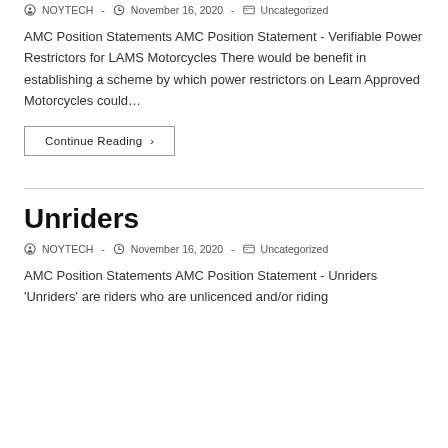NOYTECH - November 16, 2020 - Uncategorized
AMC Position Statements AMC Position Statement - Verifiable Power Restrictors for LAMS Motorcycles There would be benefit in establishing a scheme by which power restrictors on Learn Approved Motorcycles could…
Continue Reading ›
Unriders
NOYTECH - November 16, 2020 - Uncategorized
AMC Position Statements AMC Position Statement - Unriders 'Unriders' are riders who are unlicenced and/or riding